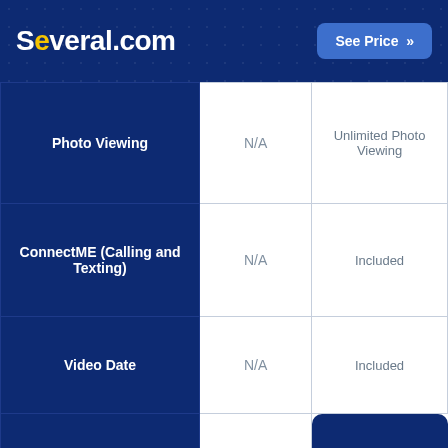Several.com — See Price
| Feature | Plan A | Plan B |
| --- | --- | --- |
| Photo Viewing | N/A | Unlimited Photo Viewing |
| ConnectME (Calling and Texting) | N/A | Included |
| Video Date | N/A | Included |
| See Who's Viewed You | N/A | See Price |
Jump to: